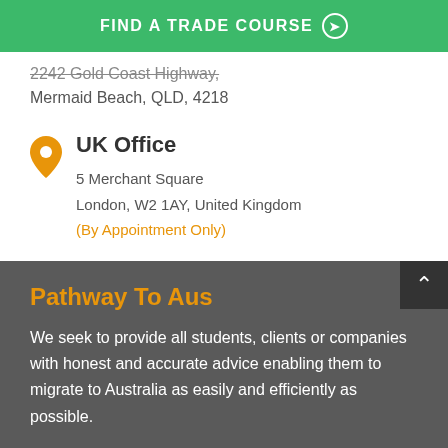FIND A TRADE COURSE →
2242 Gold Coast Highway,
Mermaid Beach, QLD, 4218
UK Office
5 Merchant Square
London, W2 1AY, United Kingdom
(By Appointment Only)
Pathway To Aus
We seek to provide all students, clients or companies with honest and accurate advice enabling them to migrate to Australia as easily and efficiently as possible.